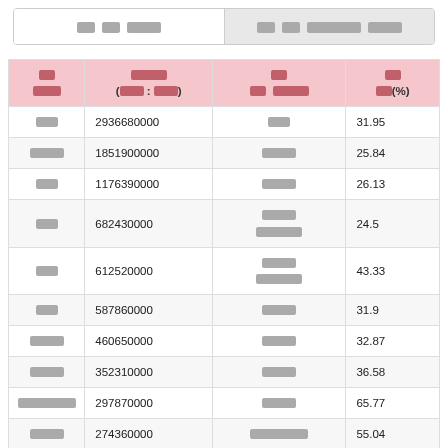[redacted] [redacted] [redacted][redacted] | [redacted][redacted] [redacted][redacted][redacted][redacted][redacted] [redacted][redacted][redacted][redacted]
| [redacted] [redacted][redacted][redacted] | [redacted][redacted][redacted][redacted] ([redacted][redacted] : [redacted][redacted]) | [redacted][redacted] [redacted][redacted] [redacted][redacted][redacted][redacted][redacted] | [redacted][redacted] [redacted][redacted][redacted](%) |
| --- | --- | --- | --- |
| [redacted][redacted] | 2936680000 | [redacted][redacted] | 31.95 |
| [redacted][redacted][redacted] | 1851900000 | [redacted][redacted][redacted] | 25.84 |
| [redacted][redacted] | 1176390000 | [redacted][redacted][redacted] | 26.13 |
| [redacted][redacted] | 682430000 | [redacted][redacted][redacted] [redacted][redacted][redacted][redacted][redacted] | 24.5 |
| [redacted][redacted] | 612520000 | [redacted][redacted][redacted] [redacted][redacted][redacted][redacted][redacted] | 43.33 |
| [redacted][redacted] | 587860000 | [redacted][redacted][redacted] | 31.9 |
| [redacted][redacted][redacted] | 460650000 | [redacted][redacted][redacted] | 32.87 |
| [redacted][redacted][redacted] | 352310000 | [redacted][redacted][redacted] | 36.58 |
| [redacted][redacted][redacted][redacted][redacted][redacted] | 297870000 | [redacted][redacted][redacted] | 65.77 |
| [redacted][redacted][redacted] | 274360000 | [redacted][redacted][redacted][redacted][redacted][redacted] | 55.04 |
| [redacted][redacted][redacted] | 271760000 | [redacted][redacted] | 47.3 |
| [redacted][redacted][redacted] | 256830000 | [redacted][redacted][redacted] | 35.99 |